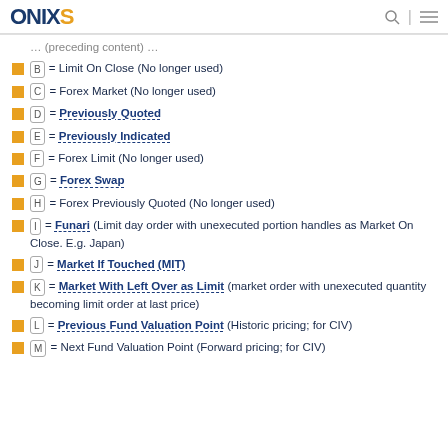ONIXS
B = Limit On Close (No longer used)
C = Forex Market (No longer used)
D = Previously Quoted
E = Previously Indicated
F = Forex Limit (No longer used)
G = Forex Swap
H = Forex Previously Quoted (No longer used)
I = Funari (Limit day order with unexecuted portion handles as Market On Close. E.g. Japan)
J = Market If Touched (MIT)
K = Market With Left Over as Limit (market order with unexecuted quantity becoming limit order at last price)
L = Previous Fund Valuation Point (Historic pricing; for CIV)
M = Next Fund Valuation Point (Forward pricing; for CIV)